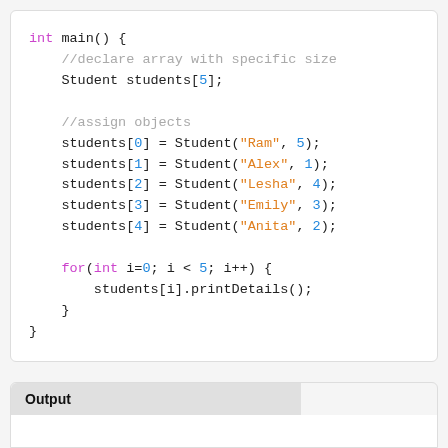[Figure (screenshot): C++ code block showing int main() function that declares a Student array of size 5, assigns Student objects with names and ids, and iterates with a for loop calling printDetails()]
Output